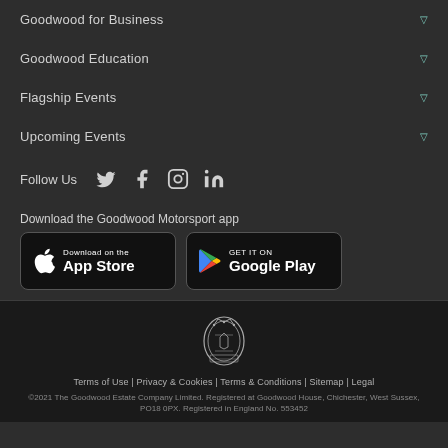Goodwood for Business
Goodwood Education
Flagship Events
Upcoming Events
Follow Us
Download the Goodwood Motorsport app
[Figure (logo): App Store download button]
[Figure (logo): Google Play download button]
[Figure (logo): Goodwood Estate crest/coat of arms logo]
Terms of Use | Privacy & Cookies | Terms & Conditions | Sitemap | Legal
©2021 The Goodwood Estate Company Limited. Registered at Goodwood House, Chichester, West Sussex, PO18 0PX. Registered in England No. 553452